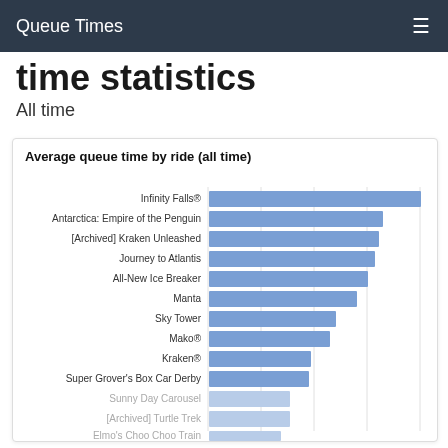Queue Times
time statistics
All time
[Figure (bar-chart): Average queue time by ride (all time)]